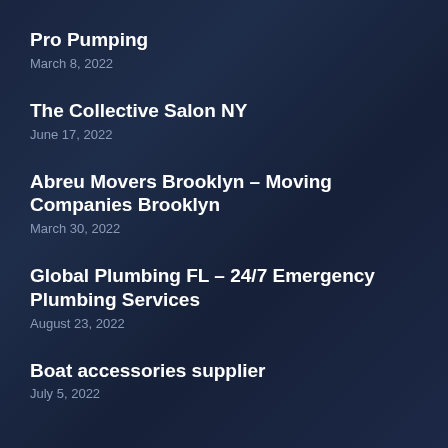Pro Pumping
March 8, 2022
The Collective Salon NY
June 17, 2022
Abreu Movers Brooklyn – Moving Companies Brooklyn
March 30, 2022
Global Plumbing FL – 24/7 Emergency Plumbing Services
August 23, 2022
Boat accessories supplier
July 5, 2022